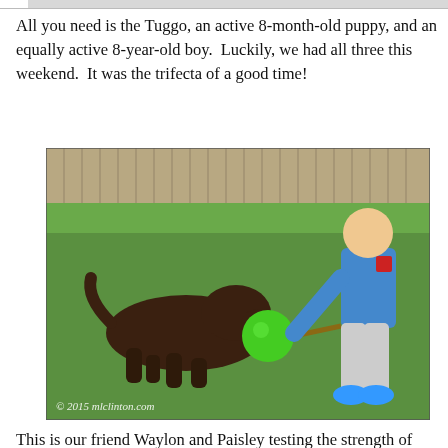All you need is the Tuggo, an active 8-month-old puppy, and an equally active 8-year-old boy.  Luckily, we had all three this weekend.  It was the trifecta of a good time!
[Figure (photo): A boy in a baseball uniform playing tug-of-war with a dark chocolate Labrador Retriever using a Tuggo toy (a ball on a rope) on a green lawn with a wooden fence in the background. Watermark reads: © 2015 mlclinton.com]
This is our friend Waylon and Paisley testing the strength of Tuggo.  It looks like Paisley is trying the under grip approach.  Going into the third grade and the youngest of three boys, this isn't Waylon's first time embattled in a game of tug.